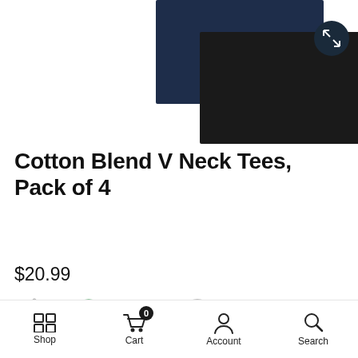[Figure (photo): Product image showing folded fabric swatches in navy blue and black colors]
Cotton Blend V Neck Tees, Pack of 4
$20.99
[Figure (infographic): Four sustainability/certification badge icons]
Shop   Cart   Account   Search